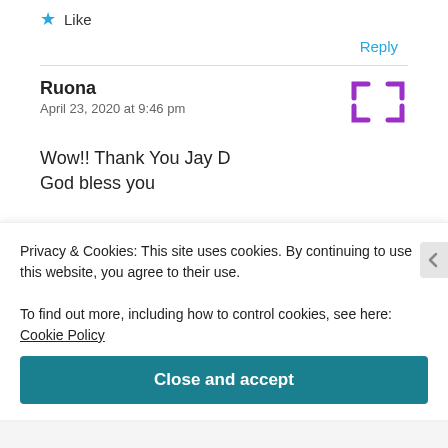Like
Reply
Ruona
April 23, 2020 at 9:46 pm
Wow!! Thank You Jay D
God bless you
Privacy & Cookies: This site uses cookies. By continuing to use this website, you agree to their use.
To find out more, including how to control cookies, see here: Cookie Policy
Close and accept